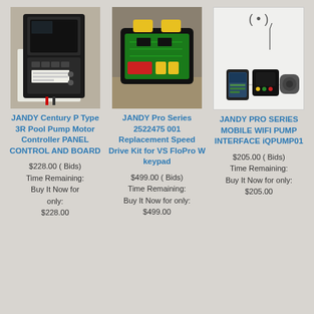[Figure (photo): JANDY Century P Type 3R Pool Pump Motor Controller panel, black device on white background]
JANDY Century P Type 3R Pool Pump Motor Controller PANEL CONTROL AND BOARD
$228.00 ( Bids)
Time Remaining:
Buy It Now for only:
$228.00
[Figure (photo): JANDY Pro Series pump motor speed drive kit, top view showing circuit board with yellow connectors]
JANDY Pro Series 2522475 001 Replacement Speed Drive Kit for VS FloPro W keypad
$499.00 ( Bids)
Time Remaining:
Buy It Now for only:
$499.00
[Figure (photo): JANDY PRO SERIES Mobile WiFi Pump Interface iQPUMP01 showing device with antenna, smartphone, and pump]
JANDY PRO SERIES MOBILE WIFI PUMP INTERFACE iQPUMP01
$205.00 ( Bids)
Time Remaining:
Buy It Now for only:
$205.00